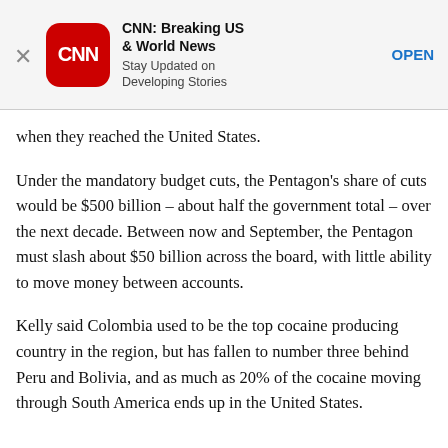[Figure (screenshot): CNN app advertisement banner with CNN logo (red rounded square), title 'CNN: Breaking US & World News', subtitle 'Stay Updated on Developing Stories', and an OPEN link button. A close X is on the left.]
when they reached the United States.
Under the mandatory budget cuts, the Pentagon's share of cuts would be $500 billion – about half the government total – over the next decade. Between now and September, the Pentagon must slash about $50 billion across the board, with little ability to move money between accounts.
Kelly said Colombia used to be the top cocaine producing country in the region, but has fallen to number three behind Peru and Bolivia, and as much as 20% of the cocaine moving through South America ends up in the United States.